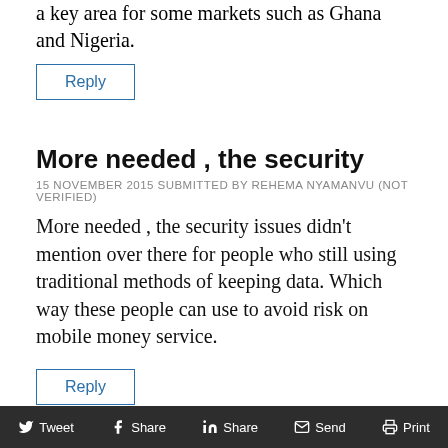a key area for some markets such as Ghana and Nigeria.
Reply
More needed , the security
15 NOVEMBER 2015 SUBMITTED BY REHEMA NYAMANVU (NOT VERIFIED)
More needed , the security issues didn't mention over there for people who still using traditional methods of keeping data. Which way these people can use to avoid risk on mobile money service.
Reply
Tweet  Share  Share  Send  Print